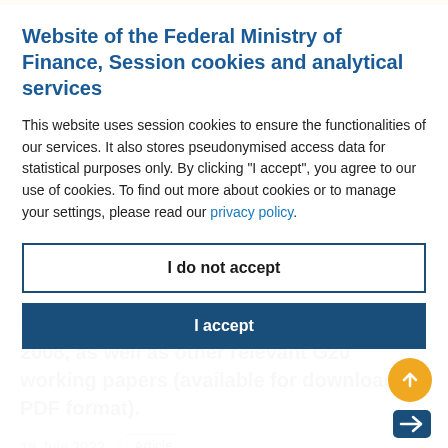Website of the Federal Ministry of Finance, Session cookies and analytical services
This website uses session cookies to ensure the functionalities of our services. It also stores pseudonymised access data for statistical purposes only. By clicking “I accept”, you agree to our use of cookies. To find out more about cookies or to manage your settings, please read our privacy policy.
I do not accept
I accept
2008, as well as other relevant G20 working papers (available for download in PDF format).
18 July 2022
Article